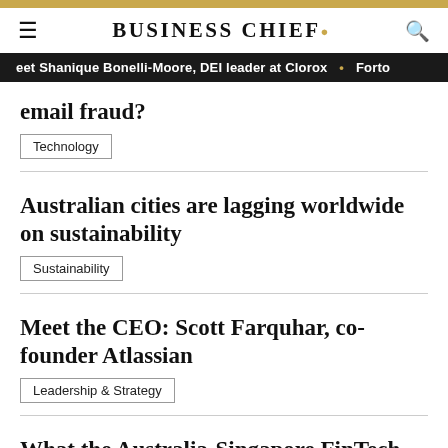BUSINESS CHIEF.
eet Shanique Bonelli-Moore, DEI leader at Clorox • Forte
email fraud?
Technology
Australian cities are lagging worldwide on sustainability
Sustainability
Meet the CEO: Scott Farquhar, co-founder Atlassian
Leadership & Strategy
What the Australia-Singapore FinTech Bridge Agreement means